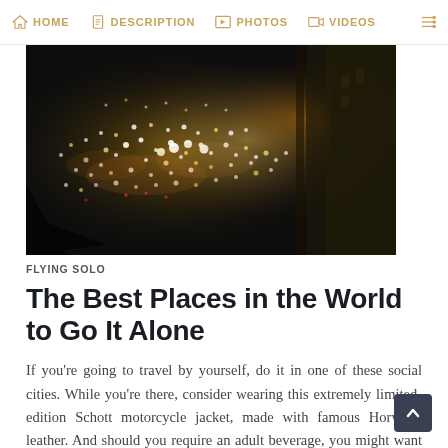HOME   DESCRIPTION   PHOTOS   VIDEOS
[Figure (photo): Aerial night view of a dense crowd of people on a street, many with lights visible, forming a large gathering or event scene.]
FLYING SOLO
The Best Places in the World to Go It Alone
If you're going to travel by yourself, do it in one of these social cities. While you're there, consider wearing this extremely limited-edition Schott motorcycle jacket, made with famous Horween leather. And should you require an adult beverage, you might want to hold out for a bourbon-y new beer from J